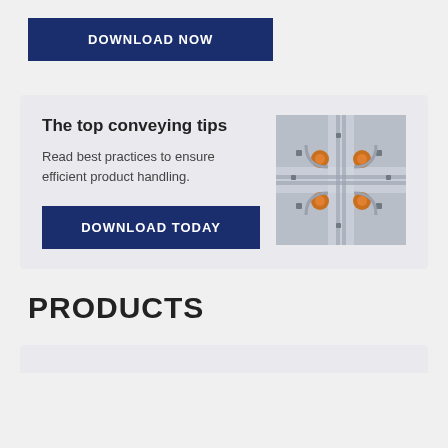DOWNLOAD NOW
The top conveying tips
Read best practices to ensure efficient product handling.
[Figure (photo): Aerial view of industrial conveying/piping system with orange pipe connectors on a grey surface]
DOWNLOAD TODAY
PRODUCTS